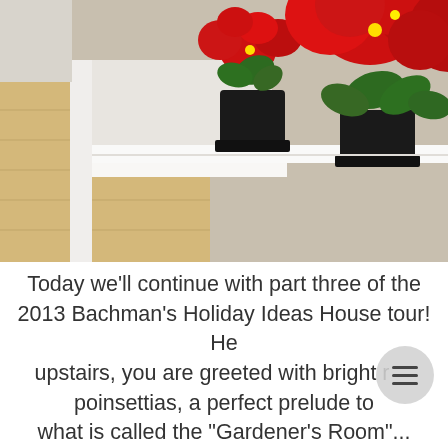[Figure (photo): Close-up photo of red poinsettia plants in black pots displayed on a white shelf or ledge, with wooden flooring visible in the background and a white wall/frame on the left.]
Today we'll continue with part three of the 2013 Bachman's Holiday Ideas House tour! He upstairs, you are greeted with bright r poinsettias, a perfect prelude to what is called the "Gardener's Room"...